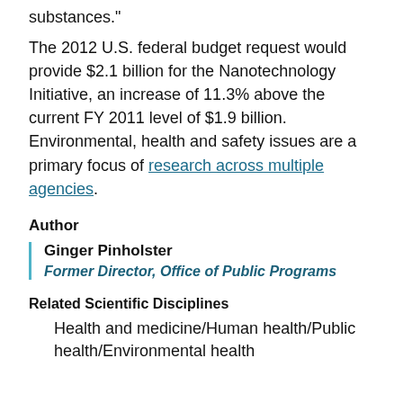substances."
The 2012 U.S. federal budget request would provide $2.1 billion for the Nanotechnology Initiative, an increase of 11.3% above the current FY 2011 level of $1.9 billion. Environmental, health and safety issues are a primary focus of research across multiple agencies.
Author
Ginger Pinholster
Former Director, Office of Public Programs
Related Scientific Disciplines
Health and medicine/Human health/Public health/Environmental health